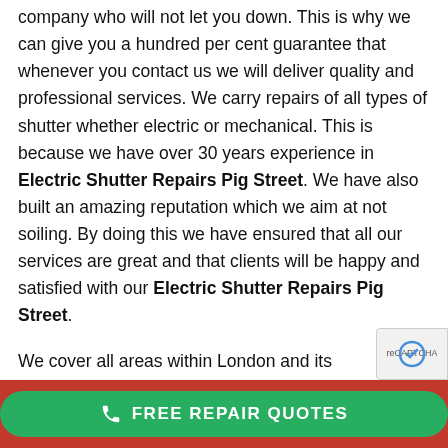company who will not let you down. This is why we can give you a hundred per cent guarantee that whenever you contact us we will deliver quality and professional services. We carry repairs of all types of shutter whether electric or mechanical. This is because we have over 30 years experience in Electric Shutter Repairs Pig Street. We have also built an amazing reputation which we aim at not soiling. By doing this we have ensured that all our services are great and that clients will be happy and satisfied with our Electric Shutter Repairs Pig Street.
We cover all areas within London and its surroundings thus making it convenient to contact us. We will ensure that Your Electric Shutter Repairs Pig Street is done within an hour of us arriving at your home or office. This ensures that we do not
FREE REPAIR QUOTES